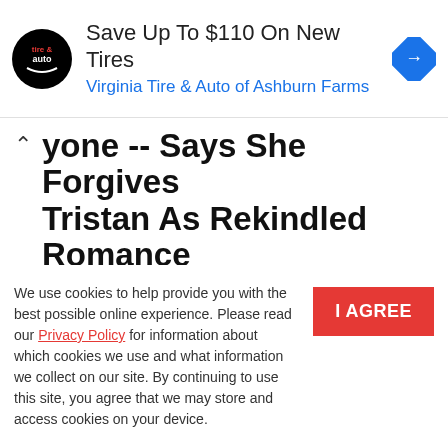[Figure (other): Advertisement banner: tire & auto logo circle, 'Save Up To $110 On New Tires' headline, 'Virginia Tire & Auto of Ashburn Farms' subtext, blue diamond arrow icon]
yone -- Says She Forgives Tristan As Rekindled Romance Rumors Heat Up
[Figure (photo): Small circular author avatar photo of Ricki Mathers]
Ricki Mathers
OCT 15, 2019 1:21 PM   13 Views   0
We use cookies to help provide you with the best possible online experience. Please read our Privacy Policy for information about which cookies we use and what information we collect on our site. By continuing to use this site, you agree that we may store and access cookies on your device.